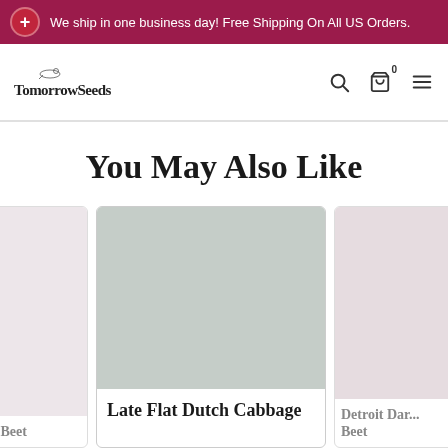We ship in one business day! Free Shipping On All US Orders.
[Figure (logo): TomorrowSeeds logo with bird illustration]
You May Also Like
[Figure (screenshot): Product card: partial left card (green/beet product), center card showing Late Flat Dutch Cabbage with gray placeholder image, partial right card showing Detroit Dark Beet]
en Beet
Late Flat Dutch Cabbage
Detroit Dar... Beet